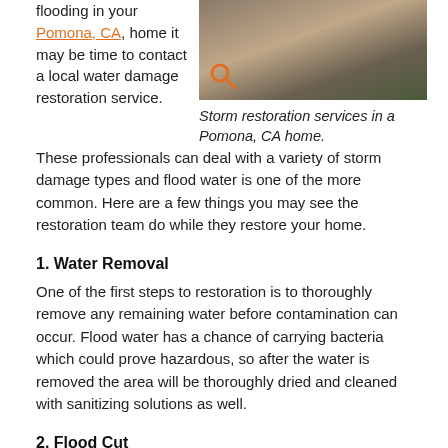flooding in your Pomona, CA, home it may be time to contact a local water damage restoration service. These professionals can deal with a variety of storm damage types and flood water is one of the more common. Here are a few things you may see the restoration team do while they restore your home.
[Figure (photo): Photo of storm restoration services with a green vacuum/equipment on a wet floor in a Pomona, CA home. Orange magnifying glass icon overlay.]
Storm restoration services in a Pomona, CA home.
1. Water Removal
One of the first steps to restoration is to thoroughly remove any remaining water before contamination can occur. Flood water has a chance of carrying bacteria which could prove hazardous, so after the water is removed the area will be thoroughly dried and cleaned with sanitizing solutions as well.
2. Flood Cut